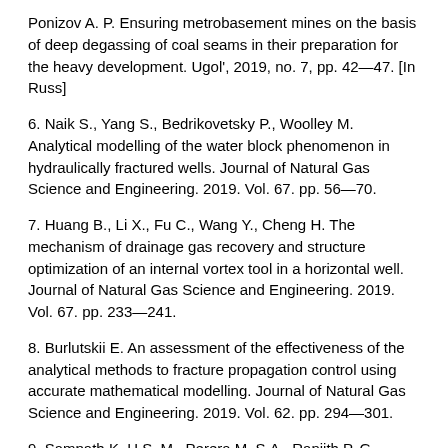Ponizov A. P. Ensuring metrobasement mines on the basis of deep degassing of coal seams in their preparation for the heavy development. Ugol', 2019, no. 7, pp. 42—47. [In Russ]
6. Naik S., Yang S., Bedrikovetsky P., Woolley M. Analytical modelling of the water block phenomenon in hydraulically fractured wells. Journal of Natural Gas Science and Engineering. 2019. Vol. 67. pp. 56—70.
7. Huang B., Li X., Fu C., Wang Y., Cheng H. The mechanism of drainage gas recovery and structure optimization of an internal vortex tool in a horizontal well. Journal of Natural Gas Science and Engineering. 2019. Vol. 67. pp. 233—241.
8. Burlutskii E. An assessment of the effectiveness of the analytical methods to fracture propagation control using accurate mathematical modelling. Journal of Natural Gas Science and Engineering. 2019. Vol. 62. pp. 294—301.
9. Sampath K. H.S. M., Perera M. S.A., Ranjith P. G. Theoretical overview of hydraulic fracturing break-down pressure. Journal of Natural Gas Science and Engineering. 2018. Vol. 58. pp. 251—265.
10. Zheltov Yu. II., Hristianovich S. A. O gidravlicheskom